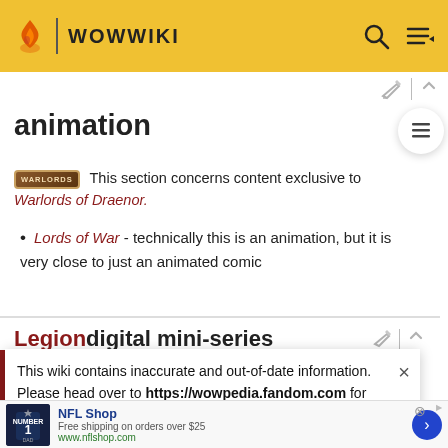WOWWIKI
animation
This section concerns content exclusive to Warlords of Draenor.
Lords of War - technically this is an animation, but it is very close to just an animated comic
Legion digital mini-series
This wiki contains inaccurate and out-of-date information. Please head over to https://wowpedia.fandom.com for more accurate and up-to-date game information.
World of Warcraft: Legion comic
NFL Shop Free shipping on orders over $25 www.nflshop.com